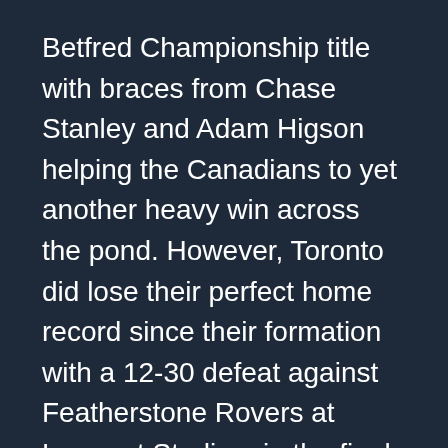Betfred Championship title with braces from Chase Stanley and Adam Higson helping the Canadians to yet another heavy win across the pond. However, Toronto did lose their perfect home record since their formation with a 12-30 defeat against Featherstone Rovers at Lamport Stadium in the final round of Betfred Championship fixtures.
Coach
Toronto are led by Paul Rowley with the 43-year-old joining the Canadian club as their